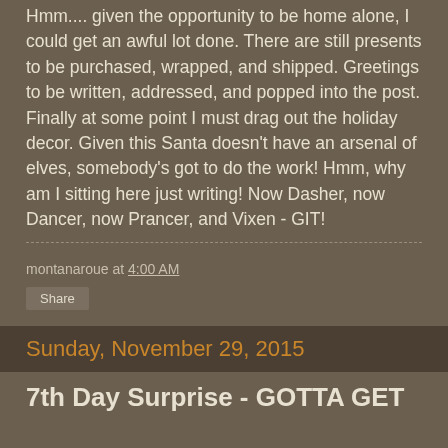Hmm.... given the opportunity to be home alone, I could get an awful lot done. There are still presents to be purchased, wrapped, and shipped. Greetings to be written, addressed, and popped into the post. Finally at some point I must drag out the holiday decor. Given this Santa doesn't have an arsenal of elves, somebody's got to do the work! Hmm, why am I sitting here just writing! Now Dasher, now Dancer, now Prancer, and Vixen - GIT!
montanaroue at 4:00 AM
Share
Sunday, November 29, 2015
7th Day Surprise - GOTTA GET